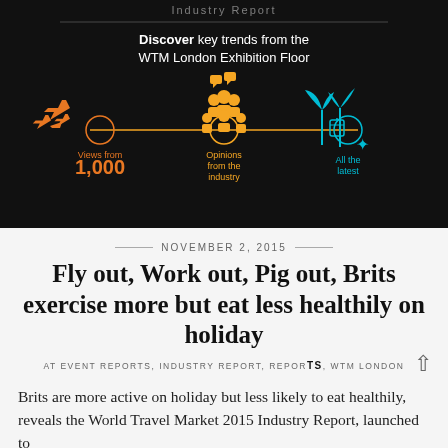[Figure (infographic): WTM Industry Report banner on black background. Shows 'Discover key trends from the WTM London Exhibition Floor' with icons for three categories connected by a horizontal line: orange airplane icons (Views from 1,000), gold people icons (Opinions from the industry), cyan beach/travel icons (All the latest). Horizontal divider line above text.]
NOVEMBER 2, 2015
Fly out, Work out, Pig out, Brits exercise more but eat less healthily on holiday
AT EVENT REPORTS, INDUSTRY REPORT, REPORTS, WTM LONDON
Brits are more active on holiday but less likely to eat healthily, reveals the World Travel Market 2015 Industry Report, launched to...